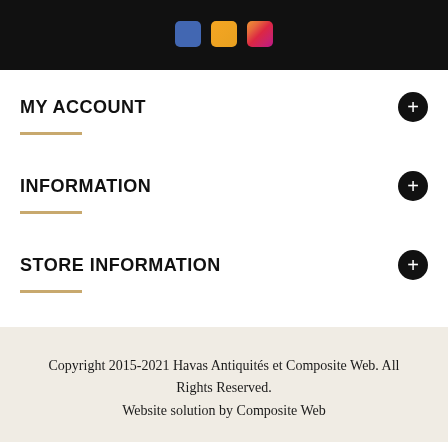[Figure (other): Dark header bar with three social media icons: Facebook (blue), YouTube (orange/gold), Instagram (gradient orange-red)]
MY ACCOUNT
INFORMATION
STORE INFORMATION
Copyright 2015-2021 Havas Antiquités et Composite Web. All Rights Reserved.
Website solution by Composite Web